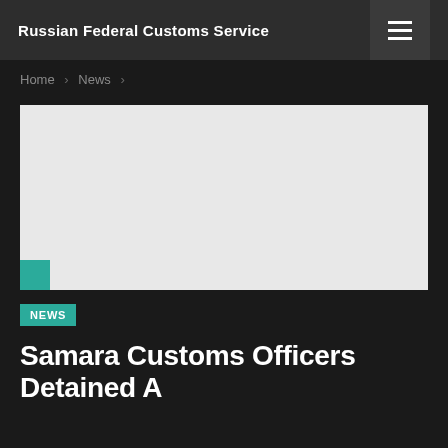Russian Federal Customs Service
Home › News ›
[Figure (photo): Large placeholder image area with light gray background and a teal/green square in the bottom-left corner]
NEWS
Samara Customs Officers Detained A